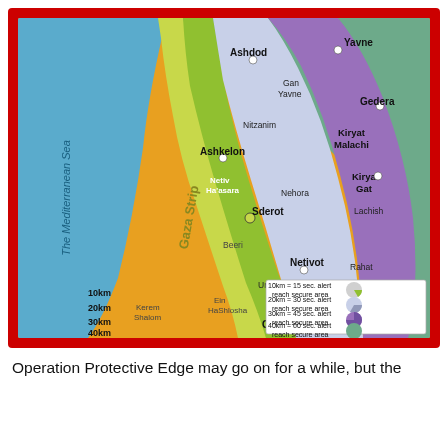[Figure (map): Map showing Gaza Strip rocket threat zones radiating outward from Gaza in concentric bands: 10km (green, 15 sec alert), 20km (light blue/lavender, 30 sec alert), 30km (purple, 45 sec alert), 40km (teal/green, 60 sec alert). The Mediterranean Sea is shown to the west (blue). Cities labeled include Yavne, Ashdod, Gan Yavne, Gedera, Nitzanim, Kiryat Malachi, Ashkelon, Kiryat Gat, Netiv Ha'asara, Nehora, Sderot, Lachish, Beeri, Netivot, Rahat, Urim, Ein HaShlosha, Ofakim, Beersheba, Kerem Shalom. A legend in the lower right shows pie-chart icons for each distance/alert time. Distance markers 10km, 20km, 30km, 40km are shown on the lower left.]
Operation Protective Edge may go on for a while, but the